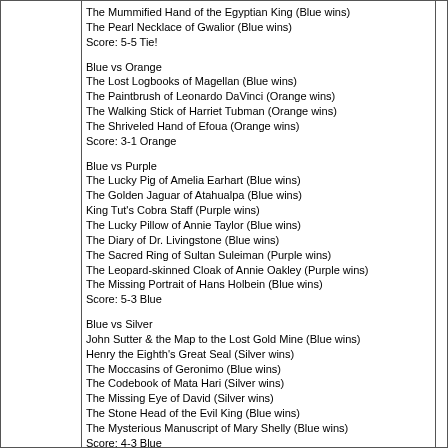The Mummified Hand of the Egyptian King (Blue wins)
The Pearl Necklace of Gwalior (Blue wins)
Score: 5-5 Tie!
Blue vs Orange
The Lost Logbooks of Magellan (Blue wins)
The Paintbrush of Leonardo DaVinci (Orange wins)
The Walking Stick of Harriet Tubman (Orange wins)
The Shriveled Hand of Efoua (Orange wins)
Score: 3-1 Orange
Blue vs Purple
The Lucky Pig of Amelia Earhart (Blue wins)
The Golden Jaguar of Atahualpa (Blue wins)
King Tut's Cobra Staff (Purple wins)
The Lucky Pillow of Annie Taylor (Blue wins)
The Diary of Dr. Livingstone (Blue wins)
The Sacred Ring of Sultan Suleiman (Purple wins)
The Leopard-skinned Cloak of Annie Oakley (Purple wins)
The Missing Portrait of Hans Holbein (Blue wins)
Score: 5-3 Blue
Blue vs Silver
John Sutter & the Map to the Lost Gold Mine (Blue wins)
Henry the Eighth's Great Seal (Silver wins)
The Moccasins of Geronimo (Blue wins)
The Codebook of Mata Hari (Silver wins)
The Missing Eye of David (Silver wins)
The Stone Head of the Evil King (Blue wins)
The Mysterious Manuscript of Mary Shelly (Blue wins)
Score: 4-3 Blue
Green vs Orange
Wild Bill Hickok and the Dead Man's Hand (Orange wins)
The Cracked Crown of the Spanish King (Orange wins)
The Mush Pot Hat of Johnny Appleseed (Orange wins)
The Imperial Purple Robe of Empress Theodora (Green wins)
The Best Sleeping Bag of Jedidiah Smith (Green wins)